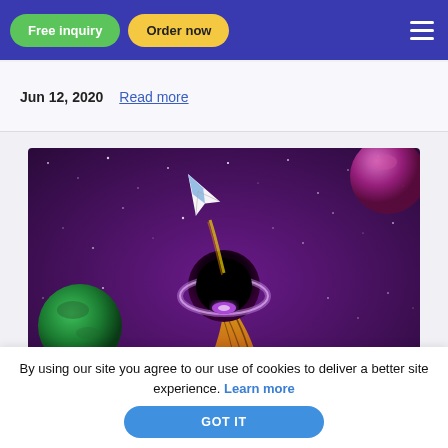Free inquiry | Order now
Jun 12, 2020   Read more
[Figure (illustration): Space scene illustration with a black hole, paper rocket, a green planet on the left, and a pink planet on the upper right, against a purple starry background.]
By using our site you agree to our use of cookies to deliver a better site experience. Learn more
GOT IT